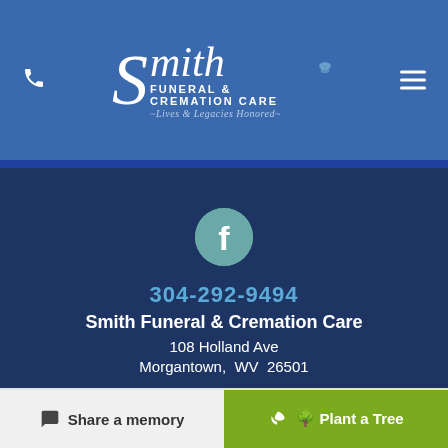[Figure (logo): Smith Funeral & Cremation Care logo with cursive S and butterfly, tagline Lives & Legacies Honored]
[Figure (illustration): Facebook social media icon in teal circle]
304-292-9494
Smith Funeral & Cremation Care
108 Holland Ave
Morgantown,  WV  26501
Share a memory
Plant a Tree